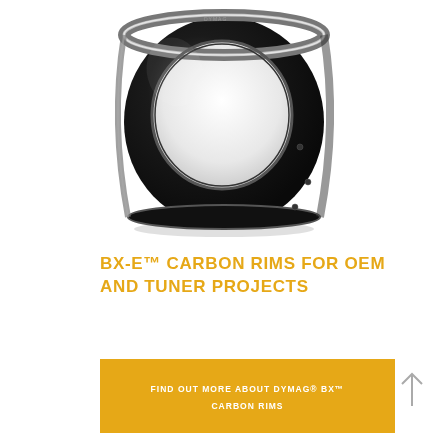[Figure (photo): A glossy black carbon fiber wheel rim (barrel/hoop section) viewed at a slight angle, showing the cylindrical carbon rim structure with polished dark finish and small bolt holes around the outer edge. White background.]
BX-E™ CARBON RIMS FOR OEM AND TUNER PROJECTS
FIND OUT MORE ABOUT DYMAG® BX™ CARBON RIMS